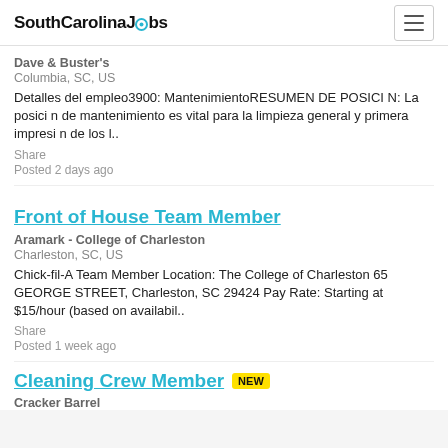SouthCarolinaJobs
Dave & Buster's
Columbia, SC, US
Detalles del empleo3900: MantenimientoRESUMEN DE POSICI N: La posici n de mantenimiento es vital para la limpieza general y primera impresi n de los l..
Share
Posted 2 days ago
Front of House Team Member
Aramark - College of Charleston
Charleston, SC, US
Chick-fil-A Team Member Location: The College of Charleston 65 GEORGE STREET, Charleston, SC 29424 Pay Rate: Starting at $15/hour (based on availabil..
Share
Posted 1 week ago
Cleaning Crew Member NEW
Cracker Barrel